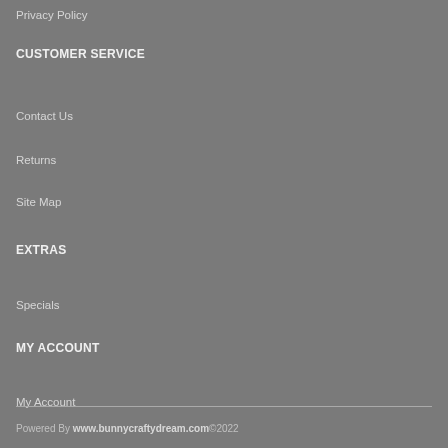Privacy Policy
CUSTOMER SERVICE
Contact Us
Returns
Site Map
EXTRAS
Specials
MY ACCOUNT
My Account
Order History
Wish List
Newsletter
Powered By www.bunnycraftydream.com©2022